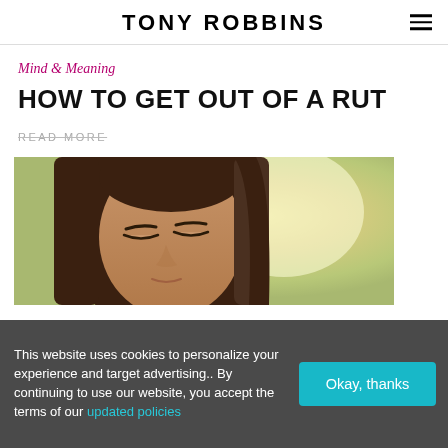TONY ROBBINS
Mind & Meaning
HOW TO GET OUT OF A RUT
READ MORE
[Figure (photo): Young woman with long dark hair, eyes closed, meditating or in peaceful repose, against a soft blurred yellow-green background]
This website uses cookies to personalize your experience and target advertising.. By continuing to use our website, you accept the terms of our updated policies